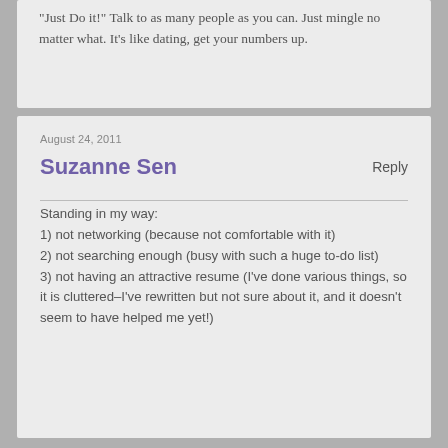"Just Do it!" Talk to as many people as you can. Just mingle no matter what. It's like dating, get your numbers up.
August 24, 2011
Suzanne Sen
Reply
Standing in my way:
1) not networking (because not comfortable with it)
2) not searching enough (busy with such a huge to-do list)
3) not having an attractive resume (I've done various things, so it is cluttered–I've rewritten but not sure about it, and it doesn't seem to have helped me yet!)